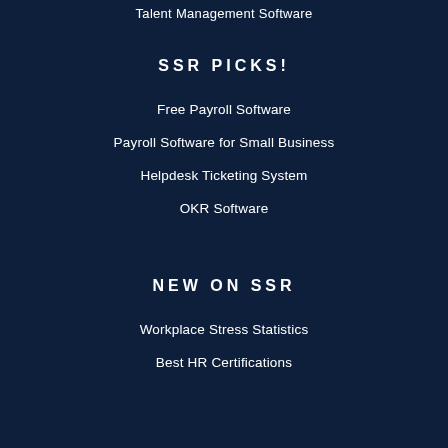Talent Management Software
SSR PICKS!
Free Payroll Software
Payroll Software for Small Business
Helpdesk Ticketing System
OKR Software
NEW ON SSR
Workplace Stress Statistics
Best HR Certifications